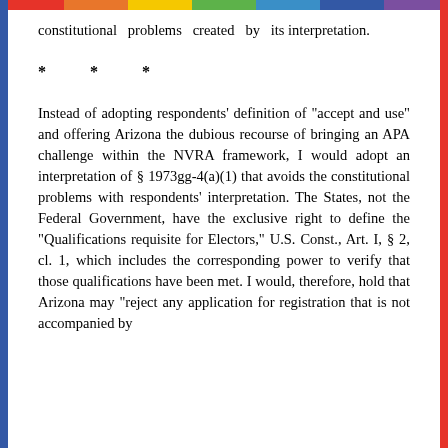constitutional problems created by its interpretation.
* * *
Instead of adopting respondents' definition of "accept and use" and offering Arizona the dubious recourse of bringing an APA challenge within the NVRA framework, I would adopt an interpretation of § 1973gg-4(a)(1) that avoids the constitutional problems with respondents' interpretation. The States, not the Federal Government, have the exclusive right to define the "Qualifications requisite for Electors," U.S. Const., Art. I, § 2, cl. 1, which includes the corresponding power to verify that those qualifications have been met. I would, therefore, hold that Arizona may "reject any application for registration that is not accompanied by